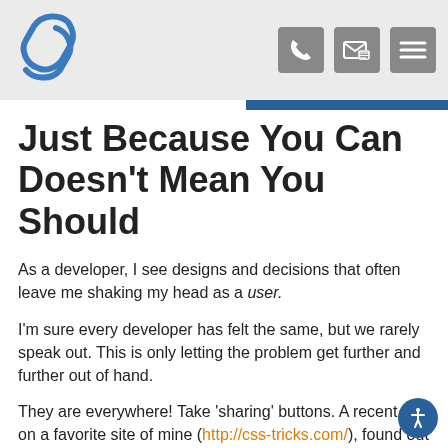Namecheap logo and navigation icons (phone, message, menu)
Just Because You Can Doesn't Mean You Should
As a developer, I see designs and decisions that often leave me shaking my head as a user.
I'm sure every developer has felt the same, but we rarely speak out. This is only letting the problem get further and further out of hand.
They are everywhere! Take 'sharing' buttons. A recent poll on a favorite site of mine (http://css-tricks.com/), found out that over 60% of the sites users never, ever intend to use these. This is something that can have a slight impact on load time, which I would argue is much more important, to something the